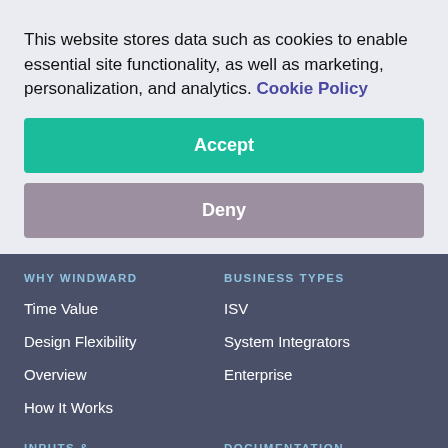This website stores data such as cookies to enable essential site functionality, as well as marketing, personalization, and analytics. Cookie Policy
Accept
Deny
WHY WINDWARD
BUSINESS TYPES
Time Value
ISV
Design Flexibility
System Integrators
Overview
Enterprise
How It Works
INPUTS & OUTPUTS
DOCUMENTATION
Programming Languages
Support Guide
Store and Licensing Guide